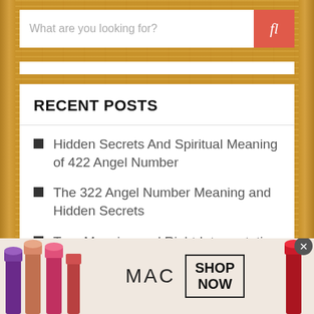[Figure (screenshot): Search bar with placeholder text 'What are you looking for?' and a salmon/red search button with a magnifying glass icon]
RECENT POSTS
Hidden Secrets And Spiritual Meaning of 422 Angel Number
The 322 Angel Number Meaning and Hidden Secrets
True Meaning and Right Interpretation of Dreams About Bugs
[Figure (photo): MAC Cosmetics advertisement banner showing colorful lipsticks, MAC logo, and SHOP NOW button]